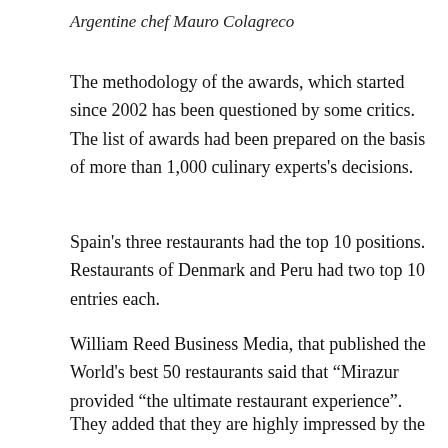Argentine chef Mauro Colagreco
The methodology of the awards, which started since 2002 has been questioned by some critics. The list of awards had been prepared on the basis of more than 1,000 culinary experts's decisions.
Spain's three restaurants had the top 10 positions. Restaurants of Denmark and Peru had two top 10 entries each.
William Reed Business Media, that published the World's best 50 restaurants said that “Mirazur provided “the ultimate restaurant experience”.
They added that they are highly impressed by the